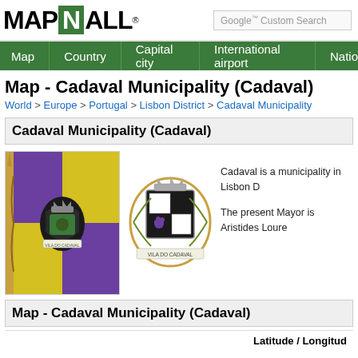MAPNALL® | Google Custom Search
Map | Country | Capital city | International airport | Natio
Map - Cadaval Municipality (Cadaval)
World > Europe > Portugal > Lisbon District > Cadaval Municipality
Cadaval Municipality (Cadaval)
[Figure (illustration): Flag of Cadaval Municipality - yellow and purple quartered flag with coat of arms, Vila do Cadaval inscription]
[Figure (illustration): Coat of arms of Cadaval Municipality - black and white heraldic shield with grape cluster, olive branches, crown, Vila do Cadaval inscription]
Cadaval is a municipality in Lisbon D
The present Mayor is Aristides Loure
Map - Cadaval Municipality (Cadaval)
Latitude / Longitud